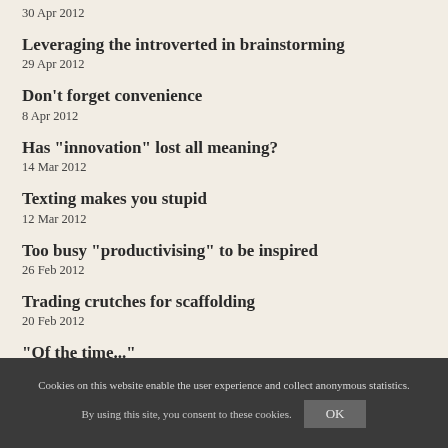30 Apr 2012
Leveraging the introverted in brainstorming
29 Apr 2012
Don’t forget convenience
8 Apr 2012
Has "innovation" lost all meaning?
14 Mar 2012
Texting makes you stupid
12 Mar 2012
Too busy "productivising" to be inspired
26 Feb 2012
Trading crutches for scaffolding
20 Feb 2012
“Of the time...”
14 Feb 2012
Cookies on this website enable the user experience and collect anonymous statistics.
By using this site, you consent to these cookies. OK